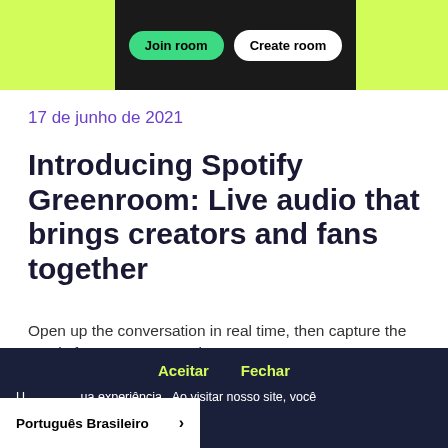[Figure (screenshot): App screenshot showing lime-green side panels and a dark center panel with 'Join room' (green button) and 'Create room' (white button)]
17 de junho de 2021
Introducing Spotify Greenroom: Live audio that brings creators and fans together
Open up the conversation in real time, then capture the magic for everyone to enjoy.
da Anchor
Aceitar    Fechar
U... ua experiência. Ao visitar nosso site, você essa Política de Privacidade.
Português Brasileiro >